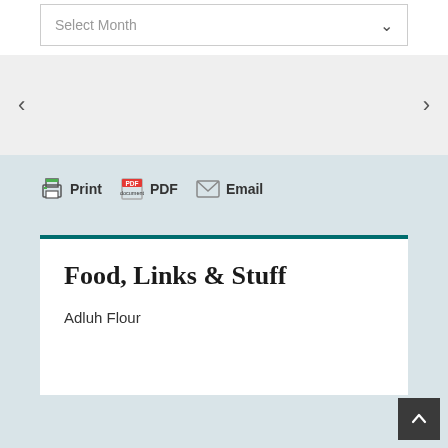Select Month
< >
[Figure (screenshot): Print, PDF, and Email action buttons with icons]
Food, Links & Stuff
Adluh Flour